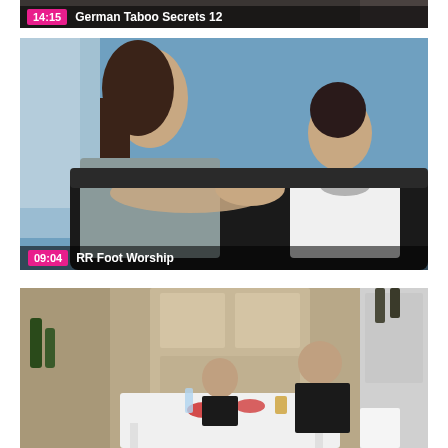[Figure (screenshot): Video thumbnail showing a partial scene at top with timestamp 14:15 and title 'German Taboo Secrets 12']
[Figure (screenshot): Video thumbnail showing a man with long curly hair and a woman on a leather sofa in a blue room, timestamp 09:04, title 'RR Foot Worship']
[Figure (screenshot): Video thumbnail showing two people sitting at a kitchen table, timestamp not visible, partial crop at bottom of page]